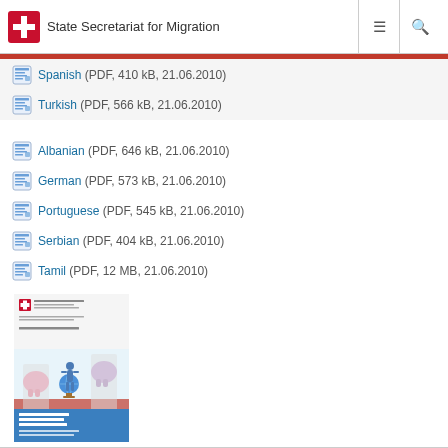State Secretariat for Migration
Spanish (PDF, 410 kB, 21.06.2010)
Turkish (PDF, 566 kB, 21.06.2010)
Albanian (PDF, 646 kB, 21.06.2010)
German (PDF, 573 kB, 21.06.2010)
Portuguese (PDF, 545 kB, 21.06.2010)
Serbian (PDF, 404 kB, 21.06.2010)
Tamil (PDF, 12 MB, 21.06.2010)
[Figure (illustration): Book cover: Sozialversicherungen: Aufenthalt in der Schweiz und Ausreise - Informationen für ausländische Staatsangehörige. Shows cartoon illustration with piggy banks, globe, and a figure.]